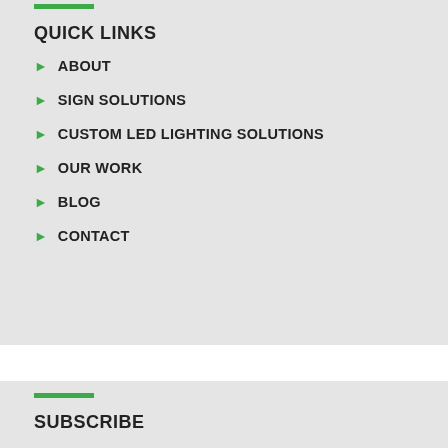QUICK LINKS
ABOUT
SIGN SOLUTIONS
CUSTOM LED LIGHTING SOLUTIONS
OUR WORK
BLOG
CONTACT
SUBSCRIBE